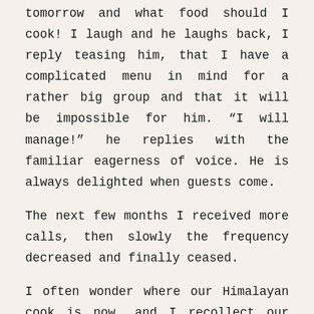tomorrow and what food should I cook! I laugh and he laughs back, I reply teasing him, that I have a complicated menu in mind for a rather big group and that it will be impossible for him. “I will manage!” he replies with the familiar eagerness of voice. He is always delighted when guests come.
The next few months I received more calls, then slowly the frequency decreased and finally ceased.
I often wonder where our Himalayan cook is now, and I recollect our conversations with the hope that our paths would cross again someday…
Love Rina